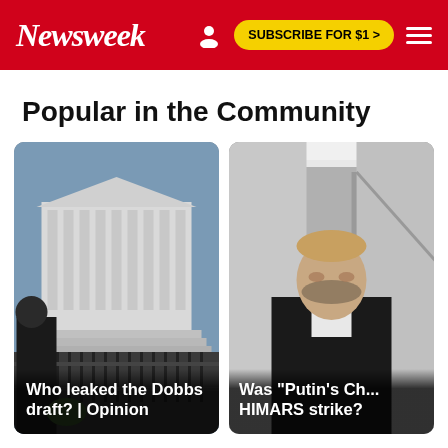Newsweek
Popular in the Community
[Figure (photo): Protesters outside the U.S. Supreme Court building with security barriers and camera crew]
Who leaked the Dobbs draft? | Opinion
[Figure (photo): Man resembling Putin in a dark jacket in an interior hallway]
Was "Putin's Ch... HIMARS strike?